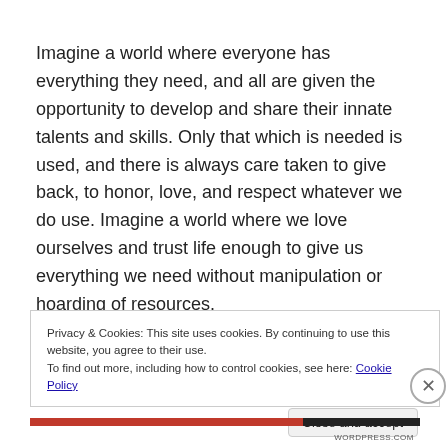Imagine a world where everyone has everything they need, and all are given the opportunity to develop and share their innate talents and skills. Only that which is needed is used, and there is always care taken to give back, to honor, love, and respect whatever we do use. Imagine a world where we love ourselves and trust life enough to give us everything we need without manipulation or hoarding of resources.
Privacy & Cookies: This site uses cookies. By continuing to use this website, you agree to their use. To find out more, including how to control cookies, see here: Cookie Policy